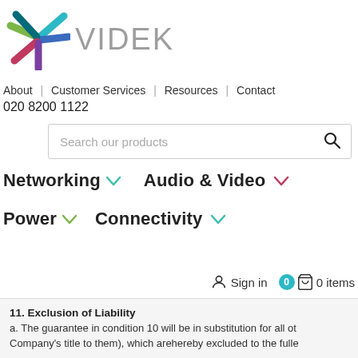[Figure (logo): Videk company logo with colorful asterisk/star icon and gray VIDEK text]
About | Customer Services | Resources | Contact
020 8200 1122
Search our products
Networking ∨   Audio & Video ∨   Power ∨   Connectivity ∨
Sign in   0   0 items
11. Exclusion of Liability
a. The guarantee in condition 10 will be in substitution for all ot... Company's title to them), which arehereby excluded to the fulle...